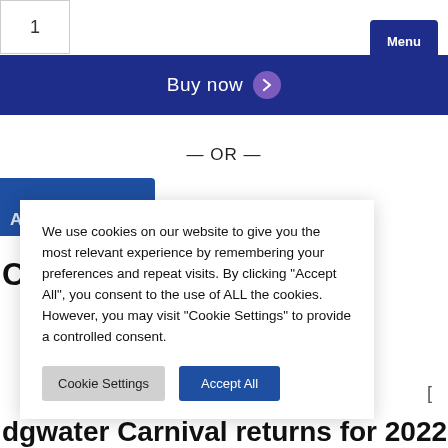[Figure (screenshot): Top-left box with number 1 inside a bordered rectangle]
[Figure (screenshot): Dark blue Menu button with hamburger icon lines in top-right corner]
[Figure (screenshot): Dark blue 'Buy now' navigation bar with purple chevron circle icon]
— OR —
[Figure (screenshot): Partial blue button with white text partially visible]
Ca
We use cookies on our website to give you the most relevant experience by remembering your preferences and repeat visits. By clicking "Accept All", you consent to the use of ALL the cookies. However, you may visit "Cookie Settings" to provide a controlled consent.
Cookie Settings
Accept All
tor Carnival
dgwater Carnival returns for 2022